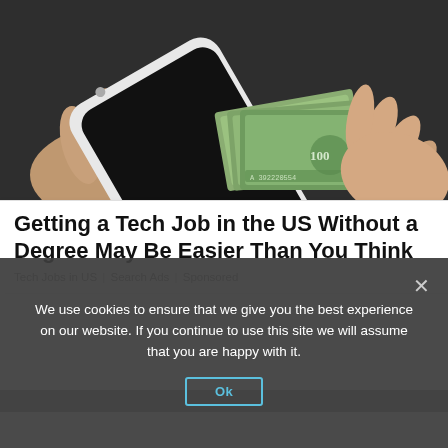[Figure (photo): Hands holding a white smartphone fanned out with $100 bills, on a dark background]
Getting a Tech Job in the US Without a Degree May Be Easier Than You Think
Tech Jobs in US | Search Ads | Sponsored
We use cookies to ensure that we give you the best experience on our website. If you continue to use this site we will assume that you are happy with it.